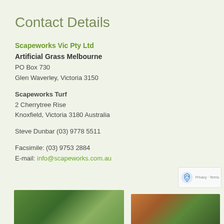Contact Details
Scapeworks Vic Pty Ltd
Artificial Grass Melbourne
PO Box 730
Glen Waverley, Victoria 3150
Scapeworks Turf
2 Cherrytree Rise
Knoxfield, Victoria 3180 Australia
Steve Dunbar (03) 9778 5511
Facsimile: (03) 9753 2884
E-mail: info@scapeworks.com.au
[Figure (photo): Two photos at the bottom of the page showing outdoor scenes, likely gardens or landscaping.]